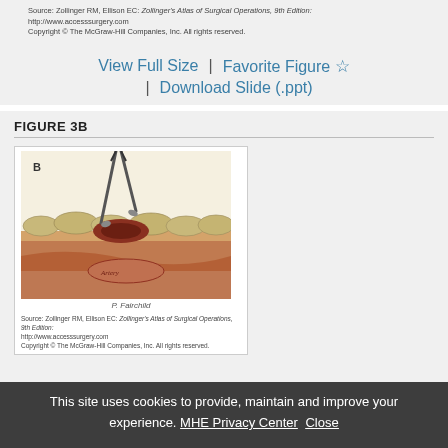Source: Zollinger RM, Ellison EC: Zollinger's Atlas of Surgical Operations, 9th Edition: http://www.accesssurgery.com
Copyright © The McGraw-Hill Companies, Inc. All rights reserved.
View Full Size | Favorite Figure ☆
| Download Slide (.ppt)
FIGURE 3B
[Figure (illustration): Surgical illustration labeled B showing a surgical instrument (scissors or forceps) being used on tissue layers, with layered skin and subcutaneous tissue visible. Artist signature 'P. Fairchild' at bottom.]
Source: Zollinger RM, Ellison EC: Zollinger's Atlas of Surgical Operations, 9th Edition: http://www.accesssurgery.com
Copyright © The McGraw-Hill Companies, Inc. All rights reserved.
This site uses cookies to provide, maintain and improve your experience. MHE Privacy Center Close